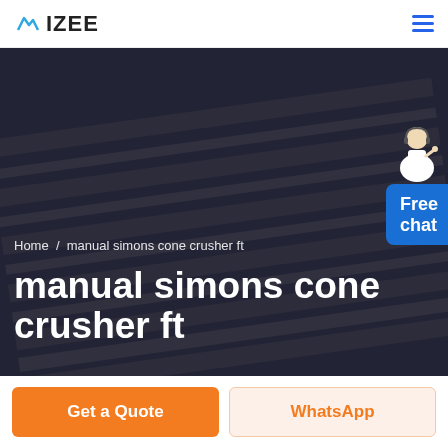IZEE
[Figure (photo): Dark hero background image showing a person in a striped shirt, with dark overlay. A customer service representative widget with 'Free chat' label appears in the upper right of the image area.]
Home / manual simons cone crusher ft
manual simons cone crusher ft
Get a Quote
WhatsApp